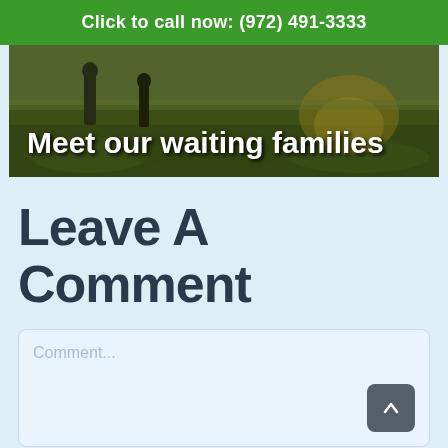Click to call now: (972) 491-3333
[Figure (photo): Banner image showing people in a field with text overlay 'Meet our waiting families']
Leave A Comment
Comment...